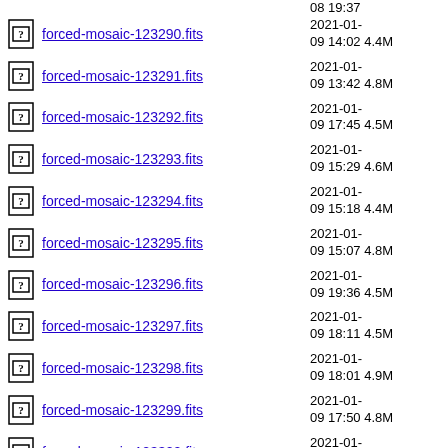08 19:37
forced-mosaic-123290.fits  2021-01-09 14:02  4.4M
forced-mosaic-123291.fits  2021-01-09 13:42  4.8M
forced-mosaic-123292.fits  2021-01-09 17:45  4.5M
forced-mosaic-123293.fits  2021-01-09 15:29  4.6M
forced-mosaic-123294.fits  2021-01-09 15:18  4.4M
forced-mosaic-123295.fits  2021-01-09 15:07  4.8M
forced-mosaic-123296.fits  2021-01-09 19:36  4.5M
forced-mosaic-123297.fits  2021-01-09 18:11  4.5M
forced-mosaic-123298.fits  2021-01-09 18:01  4.9M
forced-mosaic-123299.fits  2021-01-09 17:50  4.8M
forced-mosaic-123300.fits  2021-01-08 22:48  5.0M